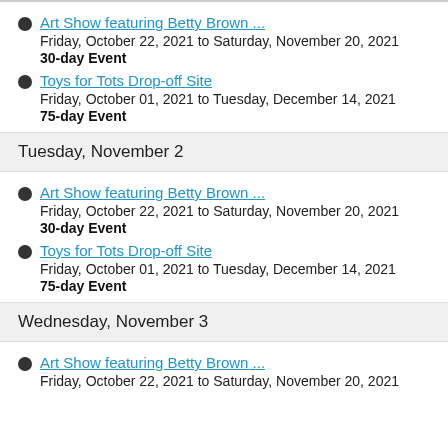Art Show featuring Betty Brown ...
Friday, October 22, 2021 to Saturday, November 20, 2021
30-day Event
Toys for Tots Drop-off Site
Friday, October 01, 2021 to Tuesday, December 14, 2021
75-day Event
Tuesday, November 2
Art Show featuring Betty Brown ...
Friday, October 22, 2021 to Saturday, November 20, 2021
30-day Event
Toys for Tots Drop-off Site
Friday, October 01, 2021 to Tuesday, December 14, 2021
75-day Event
Wednesday, November 3
Art Show featuring Betty Brown ...
Friday, October 22, 2021 to Saturday, November 20, 2021